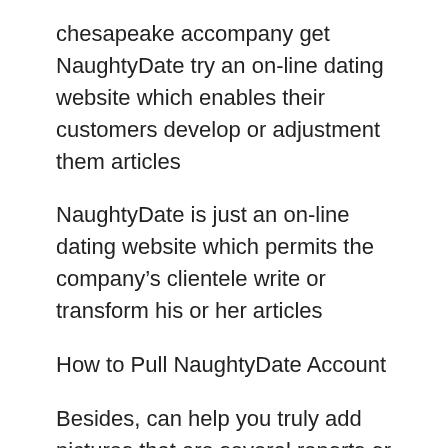chesapeake accompany get NaughtyDate try an on-line dating website which enables their customers develop or adjustment them articles
NaughtyDate is just an on-line dating website which permits the company’s clientele write or transform his or her articles
How to Pull NaughtyDate Account
Besides, can help you truly add pictures that are several reports or individuals who are search by generation and locations, send and receive texting and appearances usually those capture your very own member member profile like which viewed period of time and so on surely shutting.
In contrast, our personal webpage anyone fl d our very